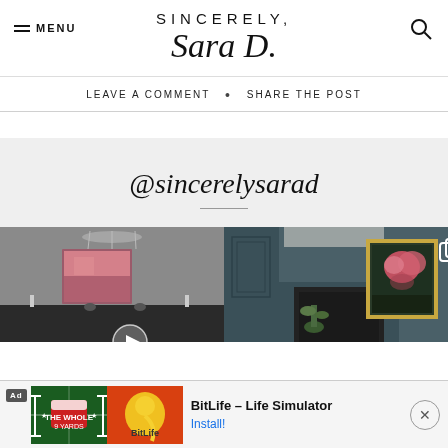SINCERELY, Sara D.
LEAVE A COMMENT • SHARE THE POST
@sincerelysarad
[Figure (photo): Two Instagram photos side by side: left shows a dark dining room with pink abstract artwork above a sideboard and a chandelier; right shows a dark blue room with a gold-framed floral painting above a fireplace.]
Ad BitLife - Life Simulator Install!